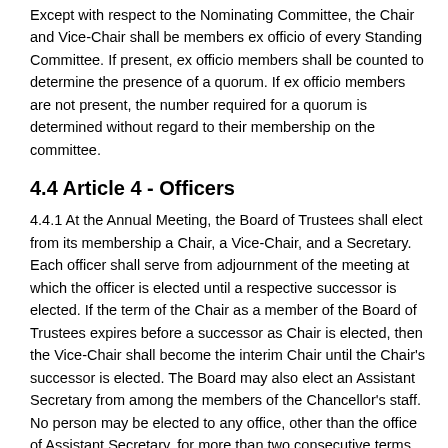Except with respect to the Nominating Committee, the Chair and Vice-Chair shall be members ex officio of every Standing Committee. If present, ex officio members shall be counted to determine the presence of a quorum. If ex officio members are not present, the number required for a quorum is determined without regard to their membership on the committee.
4.4 Article 4 - Officers
4.4.1 At the Annual Meeting, the Board of Trustees shall elect from its membership a Chair, a Vice-Chair, and a Secretary. Each officer shall serve from adjournment of the meeting at which the officer is elected until a respective successor is elected. If the term of the Chair as a member of the Board of Trustees expires before a successor as Chair is elected, then the Vice-Chair shall become the interim Chair until the Chair's successor is elected. The Board may also elect an Assistant Secretary from among the members of the Chancellor's staff. No person may be elected to any office, other than the office of Assistant Secretary, for more than two consecutive terms.
4.4.2 Officers shall be elected by a majority vote of the full